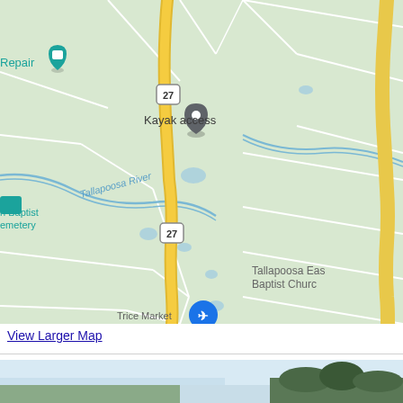[Figure (map): Google Maps screenshot showing Route 27 running north-south through a rural area. Labels visible include 'Kayak access' with a gray pin marker, 'Tallapoosa River' in blue italic text, 'Repair' with a teal pin in upper left, 'n Baptist emetery' (partially visible green label on left), 'Tallapoosa Eas Baptist Churc' (partially visible on right), and a blue circular icon at the bottom. The map background is light green with white roads and blue water features. A prominent yellow/orange highway (US Route 27) runs vertically through the center with route shields labeled '27'.]
View Larger Map
[Figure (photo): Partial view of a landscape photograph showing trees and sky at the bottom of the page, mostly cut off.]